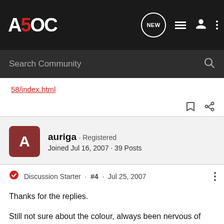A5OC - Search Community
58/index.html
auriga · Registered
Joined Jul 16, 2007 · 39 Posts
Discussion Starter · #4 · Jul 25, 2007
Thanks for the replies.

Still not sure about the colour, always been nervous of dark colour cars due to dirt and scratches.

Besides its to late to change my mind now the car is already